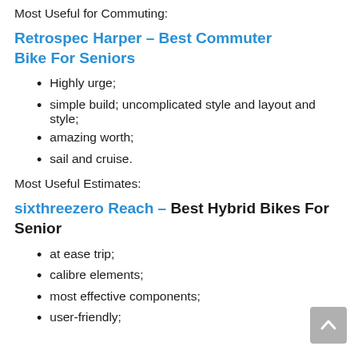Most Useful for Commuting:
Retrospec Harper – Best Commuter Bike For Seniors
Highly urge;
simple build; uncomplicated style and layout and style;
amazing worth;
sail and cruise.
Most Useful Estimates:
sixthreezero Reach – Best Hybrid Bikes For Senior
at ease trip;
calibre elements;
most effective components;
user-friendly;